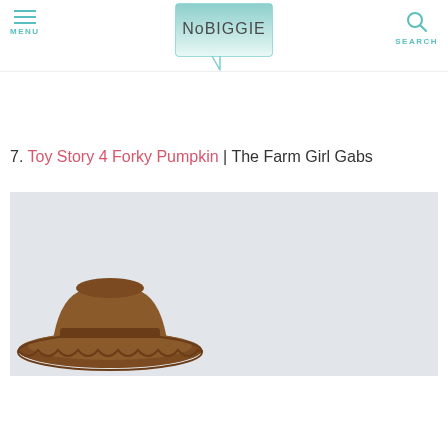MENU | NoBIGGIE | SEARCH
7. Toy Story 4 Forky Pumpkin | The Farm Girl Gabs
[Figure (photo): Photo of a brown cowboy hat (Woody from Toy Story) on a light gray background, cropped to show only the hat.]